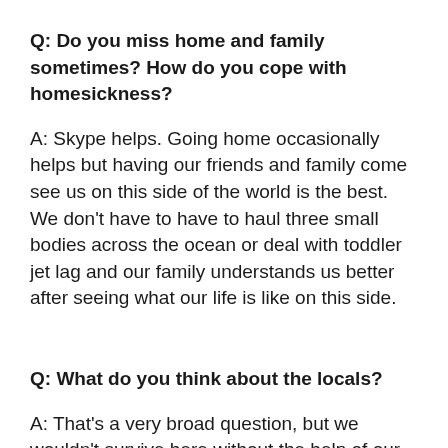Q: Do you miss home and family sometimes? How do you cope with homesickness?
A: Skype helps. Going home occasionally helps but having our friends and family come see us on this side of the world is the best. We don't have to have to haul three small bodies across the ocean or deal with toddler jet lag and our family understands us better after seeing what our life is like on this side.
Q: What do you think about the locals?
A: That's a very broad question, but we wouldn't survive here without the help of our local friends. Mongolians specifically are known for their hospitality, and we have been recipients of tremendously generous hospitality on